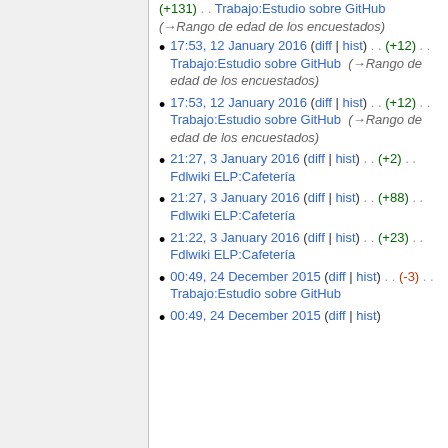(+131) . . Trabajo:Estudio sobre GitHub (→Rango de edad de los encuestados)
17:53, 12 January 2016 (diff | hist) . . (+12) . . Trabajo:Estudio sobre GitHub (→Rango de edad de los encuestados)
17:53, 12 January 2016 (diff | hist) . . (+12) . . Trabajo:Estudio sobre GitHub (→Rango de edad de los encuestados)
21:27, 3 January 2016 (diff | hist) . . (+2) . . Fdlwiki ELP:Cafetería
21:27, 3 January 2016 (diff | hist) . . (+88) . . Fdlwiki ELP:Cafetería
21:22, 3 January 2016 (diff | hist) . . (+23) . . Fdlwiki ELP:Cafetería
00:49, 24 December 2015 (diff | hist) . . (-3) . . Trabajo:Estudio sobre GitHub
00:49, 24 December 2015 (diff | hist)